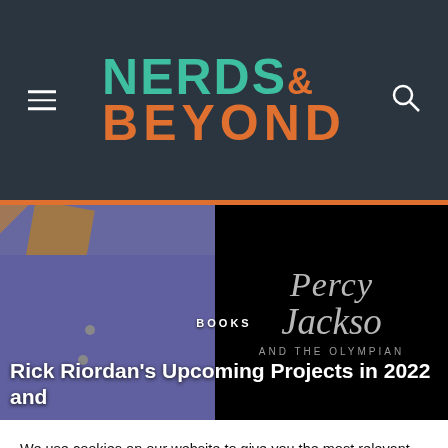NERDS & BEYOND
[Figure (photo): Hero image split: left side shows a person in a dark blue shirt with brown collar/jacket, right side shows Percy Jackson and the Olympians logo text on black background. BOOKS category label and article title overlaid.]
BOOKS
Rick Riordan's Upcoming Projects in 2022 and
We use cookies on our website to give you the most relevant experience by remembering your preferences and repeat visits. By clicking “Accept”, you consent to the use of ALL the cookies.
Do not sell my personal information.
Cookie settings  ACCEPT